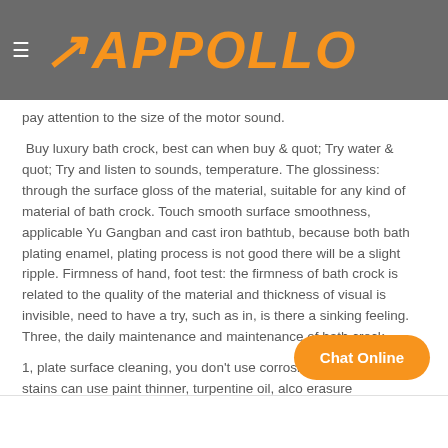APPOLLO
pay attention to the size of the motor sound.
Buy luxury bath crock, best can when buy & quot; Try water & quot; Try and listen to sounds, temperature. The glossiness: through the surface gloss of the material, suitable for any kind of material of bath crock. Touch smooth surface smoothness, applicable Yu Gangban and cast iron bathtub, because both bath plating enamel, plating process is not good there will be a slight ripple. Firmness of hand, foot test: the firmness of bath crock is related to the quality of the material and thickness of visual is invisible, need to have a try, such as in, is there a sinking feeling. Three, the daily maintenance and maintenance of bath crock
1, plate surface cleaning, you don't use corrosive cleaner, a surface stains can use paint thinner, turpentine oil, alco erasure